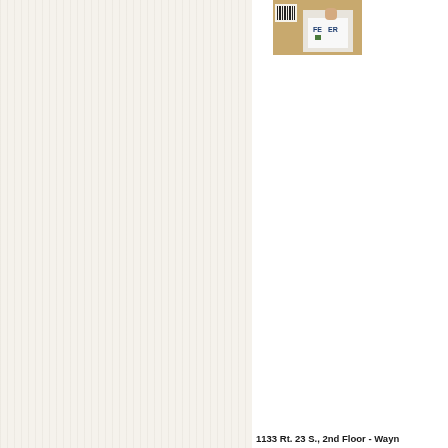[Figure (photo): Partial photo of a person wearing a white t-shirt with text, and a cardboard box or package visible in the background with a barcode]
1133 Rt. 23 S., 2nd Floor - Wayn